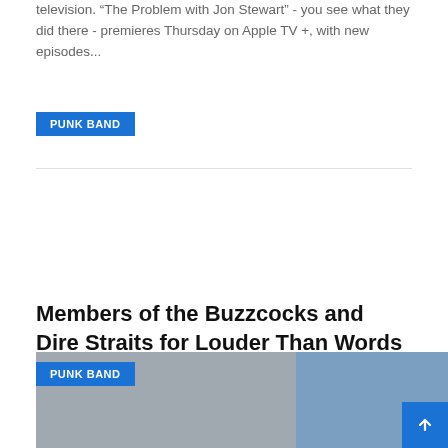television. “The Problem with Jon Stewart” - you see what they did there - premieres Thursday on Apple TV +, with new episodes...
PUNK BAND
Members of the Buzzcocks and Dire Straits for Louder Than Words music and writing festival in...
LISA R. KUZMA • Sep 30, 2021   0
Manchester's Louder Than Words Music and Writing Festival has announced its schedule for this year's event. From November 12 to 14, the festival will present a program of conferences, panels, Questions and answers sessions and...
PUNK BAND
[Figure (photo): Two photos side by side: left shows a building/streetscape, right shows a train at a station platform with a blue/teal CTA-style train.]